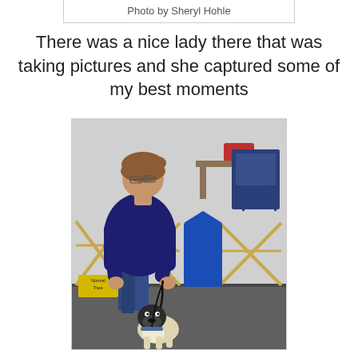Photo by Sheryl Hohle
There was a nice lady there that was taking pictures and she captured some of my best moments
[Figure (photo): A woman in a navy blue sweater and jeans walking a small pug/bulldog-type dog on a leash inside what appears to be a dog show or training event. Wooden expandable gates are visible in the background along with a blue stand, folding chairs, and a 'Normal Pace' sign on the floor.]